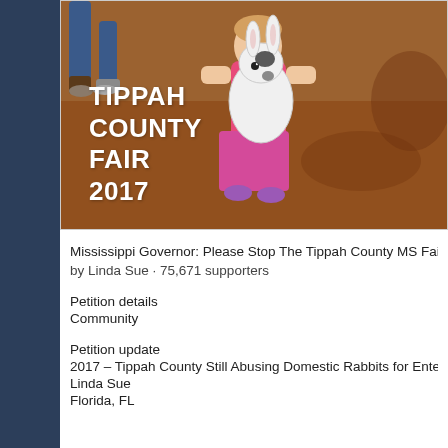[Figure (photo): Photo of a child holding a large white rabbit at the Tippah County Fair 2017, standing on red dirt ground. White bold text reads 'TIPPAH COUNTY FAIR 2017' overlaid on the left side of the image.]
Mississippi Governor: Please Stop The Tippah County MS Fair Rabb
by Linda Sue · 75,671 supporters
Petition details
Community
Petition update
2017 – Tippah County Still Abusing Domestic Rabbits for Entertainm
Linda Sue
Florida, FL